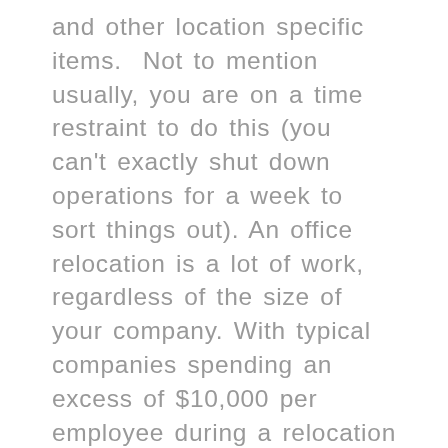and other location specific items. Not to mention usually, you are on a time restraint to do this (you can't exactly shut down operations for a week to sort things out). An office relocation is a lot of work, regardless of the size of your company. With typical companies spending an excess of $10,000 per employee during a relocation this can be a great opportunity for MSP's.  Not only is it a great opportunity for a fresh start, but moving offices can kick-start a company into assessing the way it operates; maybe you want to work to more remote workers; or reevaluate technology, products